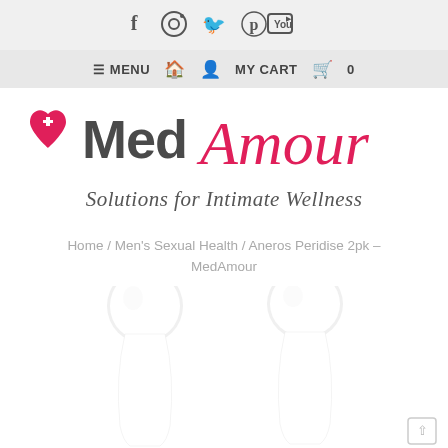[Figure (screenshot): Social media icons bar: Facebook, Instagram, Twitter, Pinterest, YouTube]
≡ MENU  🏠  👤  MY CART  🛍  0
[Figure (logo): MedAmour logo with pink heart and cross icon, stylized 'MedAmour' text in dark gray and pink script, tagline 'Solutions for Intimate Wellness' in italic script]
Home / Men's Sexual Health / Aneros Peridise 2pk - MedAmour
[Figure (photo): Two white Aneros Peridise product pieces shown side by side on white background, tops visible]